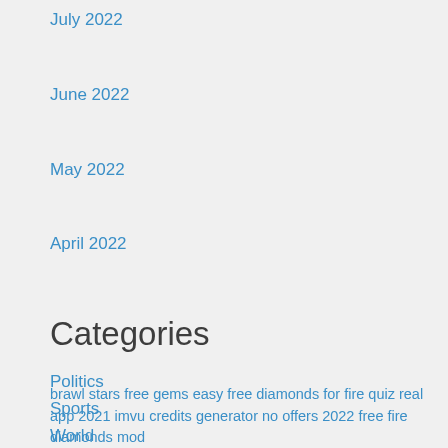July 2022
June 2022
May 2022
April 2022
Categories
Politics
Sports
World
brawl stars free gems easy free diamonds for fire quiz real app 2021 imvu credits generator no offers 2022 free fire diamonds mod